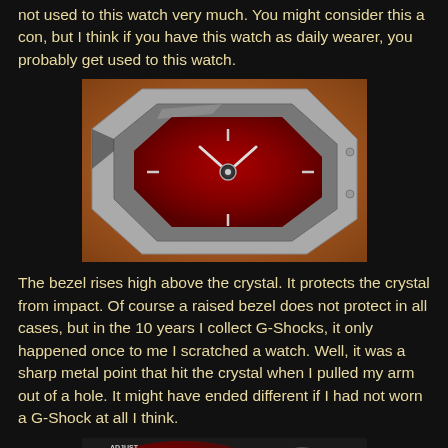not used to this watch very much. You might consider this a con, but I think if you have this watch as daily wearer, you probably get used to this watch.
[Figure (photo): Close-up photo of a G-Shock watch with silver metallic bezel, showing the skeletal dial with red accents and exposed movement, placed on an orange/brown textured surface.]
The bezel rises high above the crystal. It protects the crystal from impact. Of course a raised bezel does not protect in all cases, but in the 10 years I collect G-Shocks, it only happened once to me I scratched a watch. Well, it was a sharp metal point that hit the crystal when I pulled my arm out of a hole. It might have ended different if I had not worn a G-Shock at all I think.
[Figure (photo): Close-up photo of a Casio G-Shock watch face with red/burgundy metallic bezel, showing digital display and analog hands, with ADJUST label visible.]